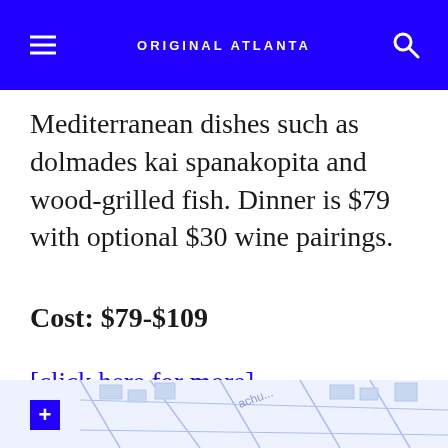ORIGINAL ATLANTA
Mediterranean dishes such as dolmades kai spanakopita and wood-grilled fish. Dinner is $79 with optional $30 wine pairings.
Cost: $79-$109
[click here for more]
[Figure (map): Partial street map view at bottom of page with a blue plus button on left side]